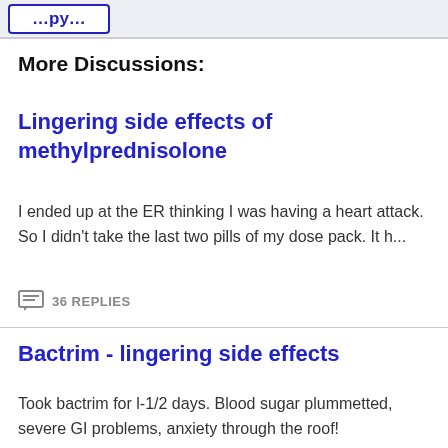[button partial] ...py...
More Discussions:
Lingering side effects of methylprednisolone
I ended up at the ER thinking I was having a heart attack. So I didn't take the last two pills of my dose pack. It h...
36 REPLIES
Bactrim - lingering side effects
Took bactrim for l-1/2 days. Blood sugar plummetted, severe GI problems, anxiety through the roof!